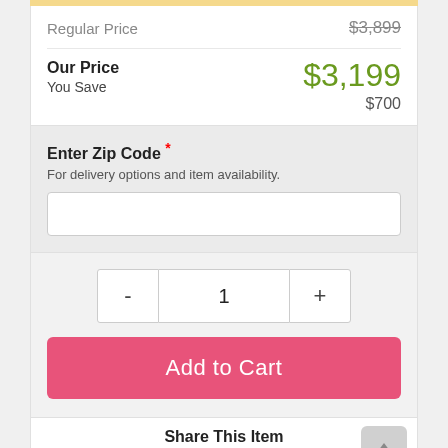| Regular Price | $3,899 |
| Our Price | $3,199 |
| You Save | $700 |
Enter Zip Code *
For delivery options and item availability.
1
Add to Cart
Share This Item